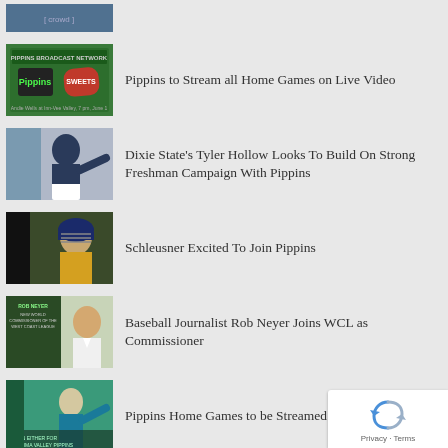[Figure (photo): Partial image of baseball crowd/stadium at top]
[Figure (photo): Pippins Broadcast Network logo with Pippins and Sweets logos on green background]
Pippins to Stream all Home Games on Live Video
[Figure (photo): Baseball player pitching in navy uniform]
Dixie State's Tyler Hollow Looks To Build On Strong Freshman Campaign With Pippins
[Figure (photo): Baseball catcher in gear outdoors]
Schleusner Excited To Join Pippins
[Figure (photo): Man in white shirt with baseball commissioner text overlay]
Baseball Journalist Rob Neyer Joins WCL as Commissioner
[Figure (photo): Baseball player pitching in teal uniform]
Pippins Home Games to be Streamed on Live Video
[Figure (photo): Pippins and STARS logos on green background]
Three Stars: Playoff win lineup upda…